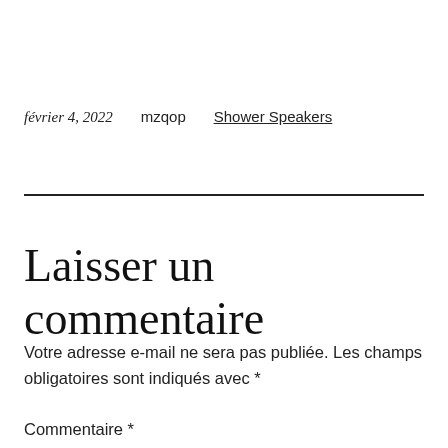février 4, 2022    mzqop    Shower Speakers
Laisser un commentaire
Votre adresse e-mail ne sera pas publiée. Les champs obligatoires sont indiqués avec *
Commentaire *